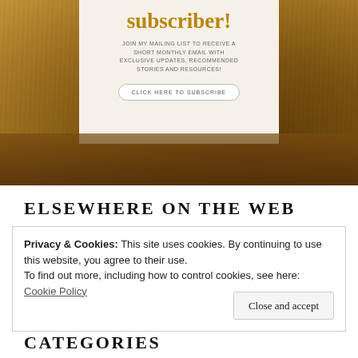[Figure (photo): Banner image with a wooden desk background showing writing tools, letter stamps, a pen and inkwell. Overlaid with a cream-colored box containing subscriber call-to-action text and a button.]
subscriber!
JOIN MY MAILING LIST TO RECEIVE A SHORT MONTHLY EMAIL WITH EXCLUSIVE UPDATES, RECOMMENDED STORIES AND RESOURCES!
CLICK HERE TO SUBSCRIBE
ELSEWHERE ON THE WEB
Privacy & Cookies: This site uses cookies. By continuing to use this website, you agree to their use.
To find out more, including how to control cookies, see here: Cookie Policy
Close and accept
CATEGORIES